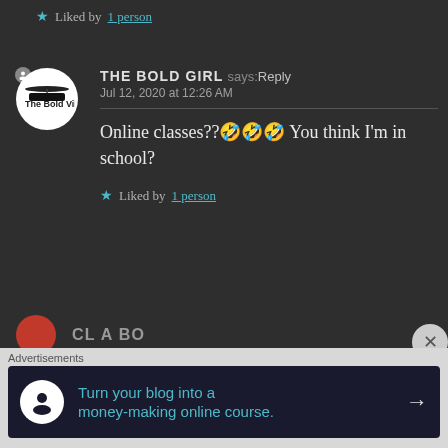★ Liked by 1 person
THE BOLD GIRL says: Reply
Jul 12, 2020 at 12:26 AM
Online classes??🤣🤣🤣 You think I'm in school?
★ Liked by 1 person
[Figure (screenshot): Partial avatar and username visible at bottom of comment section]
Advertisements
[Figure (infographic): Advertisement: Turn your blog into a money-making online course. Arrow button on right.]